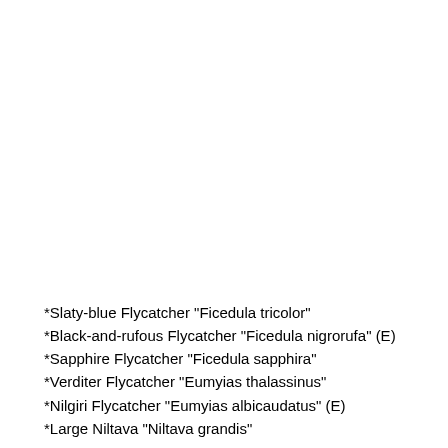*Slaty-blue Flycatcher "Ficedula tricolor"
*Black-and-rufous Flycatcher "Ficedula nigrorufa" (E)
*Sapphire Flycatcher "Ficedula sapphira"
*Verditer Flycatcher "Eumyias thalassinus"
*Nilgiri Flycatcher "Eumyias albicaudatus" (E)
*Large Niltava "Niltava grandis"